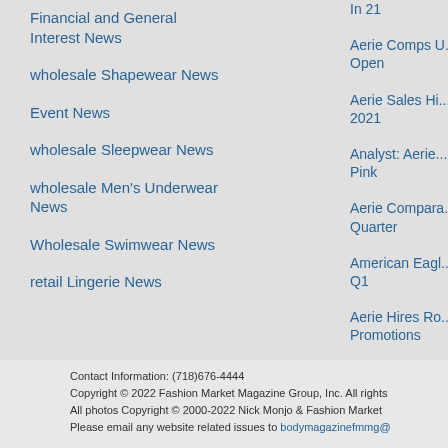Financial and General Interest News
wholesale Shapewear News
Event News
wholesale Sleepwear News
wholesale Men's Underwear News
Wholesale Swimwear News
retail Lingerie News
In 21
Aerie Comps U... Open
Aerie Sales Hi... 2021
Analyst: Aerie... Pink
Aerie Compara... Quarter
American Eagl... Q1
Aerie Hires Ro... Promotions
Contact Information: (718)676-4444
Copyright © 2022 Fashion Market Magazine Group, Inc. All rights reserved.
All photos Copyright © 2000-2022 Nick Monjo & Fashion Market Magazine Group
Please email any website related issues to bodymagazinefmmg@...